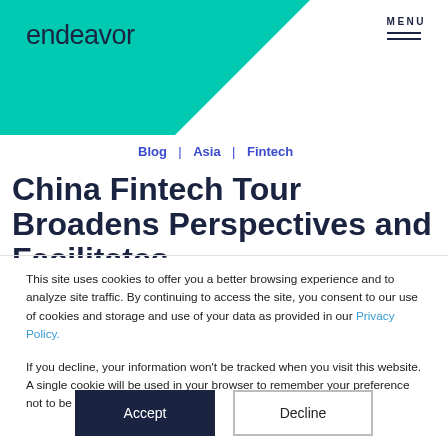[Figure (logo): Endeavor logo and teal geometric background shape with MENU button top right]
endeavor | MENU
Blog | Asia | Fintech
China Fintech Tour Broadens Perspectives and Facilitates
This site uses cookies to offer you a better browsing experience and to analyze site traffic. By continuing to access the site, you consent to our use of cookies and storage and use of your data as provided in our Privacy Policy.

If you decline, your information won't be tracked when you visit this website. A single cookie will be used in your browser to remember your preference not to be tracked.
Accept  Decline